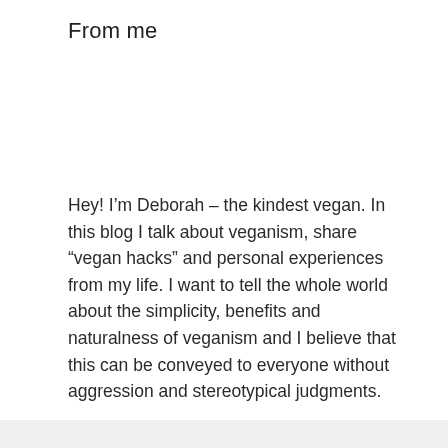From me
Hey! I’m Deborah – the kindest vegan. In this blog I talk about veganism, share “vegan hacks” and personal experiences from my life. I want to tell the whole world about the simplicity, benefits and naturalness of veganism and I believe that this can be conveyed to everyone without aggression and stereotypical judgments.